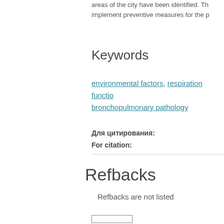areas of the city have been identified. Th implement preventive measures for the p
Keywords
environmental factors, respiration functio bronchopulmonary pathology
Для цитирования:
For citation:
Refbacks
Refbacks are not listed